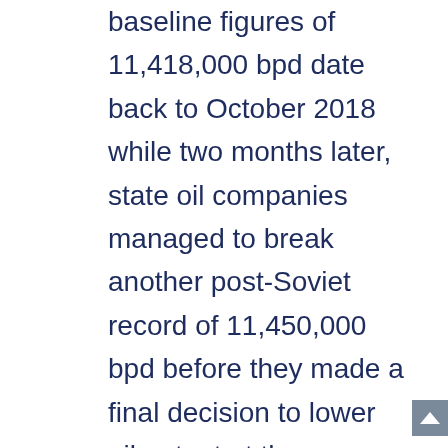baseline figures of 11,418,000 bpd date back to October 2018 while two months later, state oil companies managed to break another post-Soviet record of 11,450,000 bpd before they made a final decision to lower oil output at the beginning of this year. Russia's slow pace in cutting production was sharply criticized by its main OPEC+ allies. According to Saudi Energy Minister Khalid al-Falih, Russia was cutting its